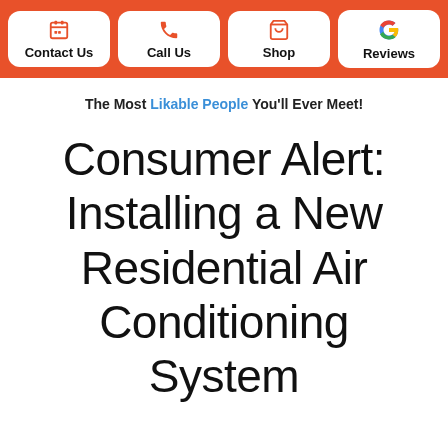Contact Us | Call Us | Shop | Reviews
The Most Likable People You'll Ever Meet!
Consumer Alert: Installing a New Residential Air Conditioning System